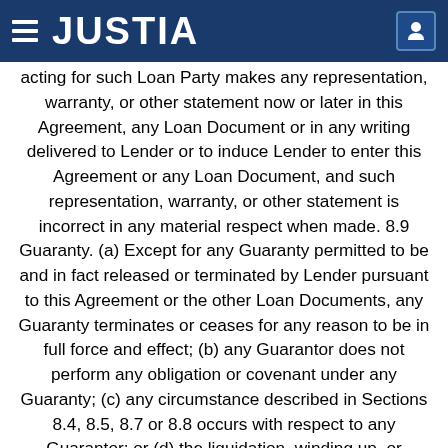JUSTIA
acting for such Loan Party makes any representation, warranty, or other statement now or later in this Agreement, any Loan Document or in any writing delivered to Lender or to induce Lender to enter this Agreement or any Loan Document, and such representation, warranty, or other statement is incorrect in any material respect when made. 8.9 Guaranty. (a) Except for any Guaranty permitted to be and in fact released or terminated by Lender pursuant to this Agreement or the other Loan Documents, any Guaranty terminates or ceases for any reason to be in full force and effect; (b) any Guarantor does not perform any obligation or covenant under any Guaranty; (c) any circumstance described in Sections 8.4, 8.5, 8.7 or 8.8 occurs with respect to any Guarantor; or (d) the liquidation, winding up, or termination of existence of any Guarantor. 8.10